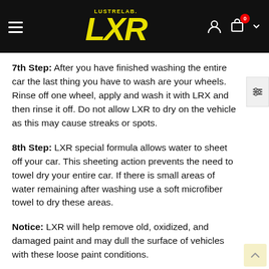[Figure (screenshot): LustreLab LXR website header with logo on black background, hamburger menu, user icon, shopping bag with 0 badge, and chevron]
7th Step: After you have finished washing the entire car the last thing you have to wash are your wheels. Rinse off one wheel, apply and wash it with LRX and then rinse it off. Do not allow LXR to dry on the vehicle as this may cause streaks or spots.
8th Step: LXR special formula allows water to sheet off your car. This sheeting action prevents the need to towel dry your entire car. If there is small areas of water remaining after washing use a soft microfiber towel to dry these areas.
Notice: LXR will help remove old, oxidized, and damaged paint and may dull the surface of vehicles with these loose paint conditions.